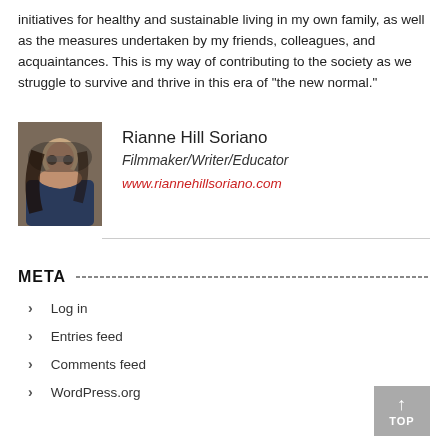initiatives for healthy and sustainable living in my own family, as well as the measures undertaken by my friends, colleagues, and acquaintances. This is my way of contributing to the society as we struggle to survive and thrive in this era of "the new normal."
[Figure (photo): Portrait photo of Rianne Hill Soriano, a woman with long dark hair wearing glasses and a dark jacket]
Rianne Hill Soriano
Filmmaker/Writer/Educator
www.riannehillsoriano.com
META
Log in
Entries feed
Comments feed
WordPress.org